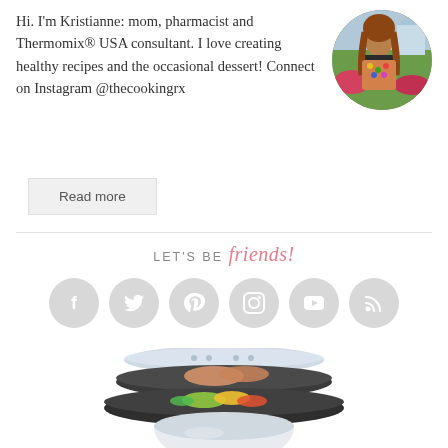Hi. I'm Kristianne: mom, pharmacist and Thermomix® USA consultant. I love creating healthy recipes and the occasional dessert! Connect on Instagram @thecookingrx
[Figure (photo): Circular portrait photo of Kristianne, a woman with brown hair, outdoors with flowers in the background.]
Read more
LET'S BE friends!
[Figure (infographic): Row of six social media icon circles: Facebook, Twitter, Pinterest, Instagram, YouTube, RSS]
[Figure (photo): Product photo of a Thermomix kitchen appliance with stacking varoma steamer trays containing food, shown in exploded view arrangement.]